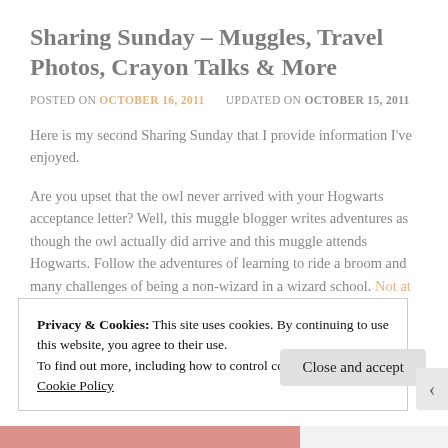Sharing Sunday – Muggles, Travel Photos, Crayon Talks & More
POSTED ON OCTOBER 16, 2011   UPDATED ON OCTOBER 15, 2011
Here is my second Sharing Sunday that I provide information I've enjoyed.
Are you upset that the owl never arrived with your Hogwarts acceptance letter? Well, this muggle blogger writes adventures as though the owl actually did arrive and this muggle attends Hogwarts. Follow the adventures of learning to ride a broom and many challenges of being a non-wizard in a wizard school. Not at Hogwarts Yet
Privacy & Cookies: This site uses cookies. By continuing to use this website, you agree to their use.
To find out more, including how to control cookies, see here: Cookie Policy
Close and accept